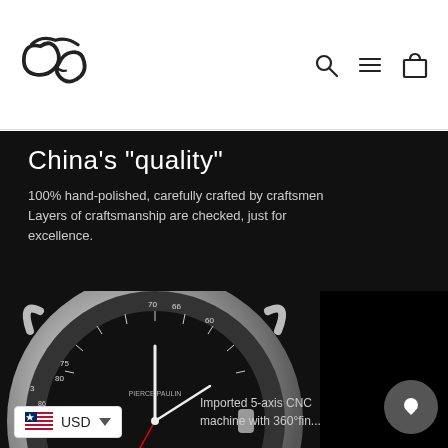Logo and navigation icons (search, menu, cart)
China's "quality"
100% hand-polished, carefully crafted by craftsmen Layers of craftsmanship are checked, just for excellence.
[Figure (photo): Close-up of a luxury watch face (Pierce Paulin brand) with tachymetre bezel, black dial and silver case, shown on dark background with text overlay: Imported 5-axis CNC machine with 360°fin...]
Imported 5-axis CNC machine with 360°fin...